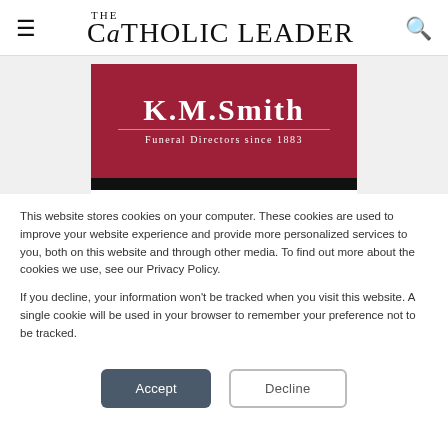THE CATHOLIC LEADER
[Figure (logo): K.M. Smith Funeral Directors since 1883 advertisement on dark red background]
This website stores cookies on your computer. These cookies are used to improve your website experience and provide more personalized services to you, both on this website and through other media. To find out more about the cookies we use, see our Privacy Policy.
If you decline, your information won’t be tracked when you visit this website. A single cookie will be used in your browser to remember your preference not to be tracked.
Accept   Decline